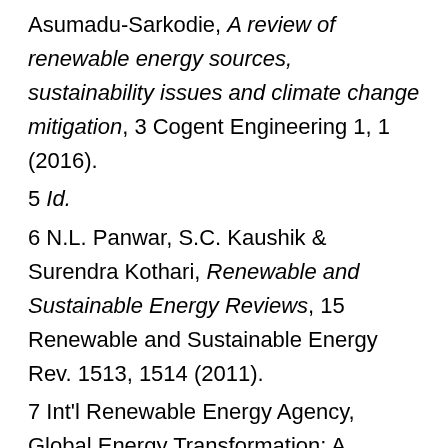Asumadu-Sarkodie, A review of renewable energy sources, sustainability issues and climate change mitigation, 3 Cogent Engineering 1, 1 (2016).
5 Id.
6 N.L. Panwar, S.C. Kaushik & Surendra Kothari, Renewable and Sustainable Energy Reviews, 15 Renewable and Sustainable Energy Rev. 1513, 1514 (2011).
7 Int'l Renewable Energy Agency, Global Energy Transformation: A roadmap to 2050 (2019).
8 See Intergovernmental Panel on Climate Change, Global warming of 1.5 °C: An IPCC Special Report on the impacts of global warming of 1.5°C above